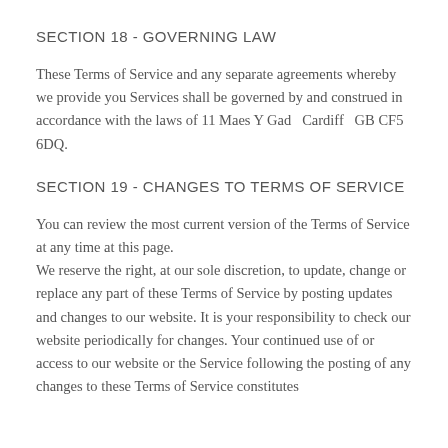SECTION 18 - GOVERNING LAW
These Terms of Service and any separate agreements whereby we provide you Services shall be governed by and construed in accordance with the laws of 11 Maes Y Gad   Cardiff   GB CF5 6DQ.
SECTION 19 - CHANGES TO TERMS OF SERVICE
You can review the most current version of the Terms of Service at any time at this page.
We reserve the right, at our sole discretion, to update, change or replace any part of these Terms of Service by posting updates and changes to our website. It is your responsibility to check our website periodically for changes. Your continued use of or access to our website or the Service following the posting of any changes to these Terms of Service constitutes